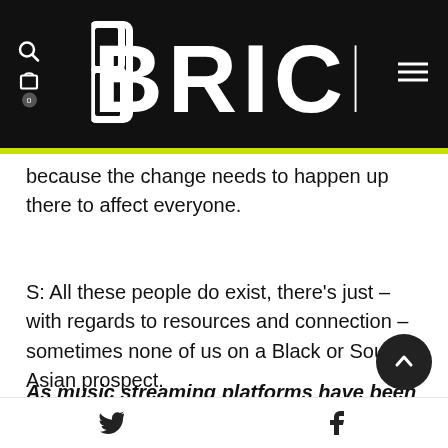BRICKS
because the change needs to happen up there to affect everyone.
S: All these people do exist, there's just – with regards to resources and connection – sometimes none of us on a Black or South Asian prospect.
As music streaming platforms have been dominating the industry for the past years – why do you think radio is still powerful?
Twitter  Facebook